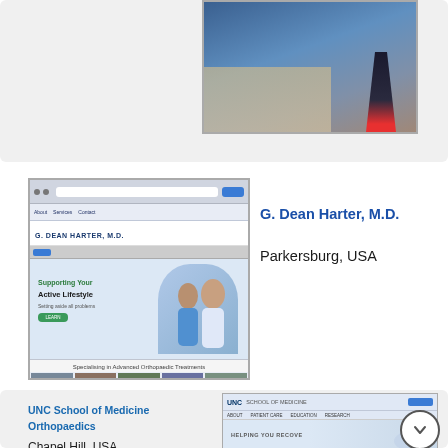[Figure (screenshot): Partial screenshot of a medical/running website with a runner image and building in background]
[Figure (screenshot): Screenshot of G. Dean Harter M.D. orthopedic website showing 'Supporting Your Active Lifestyle' with couple walking, orthopaedic treatments section]
G. Dean Harter, M.D.
Parkersburg, USA
https://www.harterortho.com
UNC School of Medicine Orthopaedics
Chapel Hill, USA
[Figure (screenshot): Screenshot of UNC School of Medicine orthopaedics website showing a woman doing physical therapy]